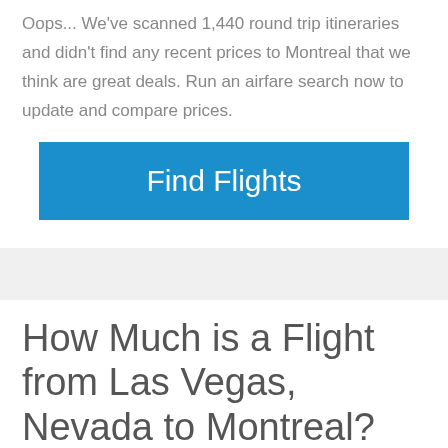Oops... We've scanned 1,440 round trip itineraries and didn't find any recent prices to Montreal that we think are great deals. Run an airfare search now to update and compare prices.
[Figure (other): Blue 'Find Flights' button]
How Much is a Flight from Las Vegas, Nevada to Montreal?
We have collected flight cost data from across the web